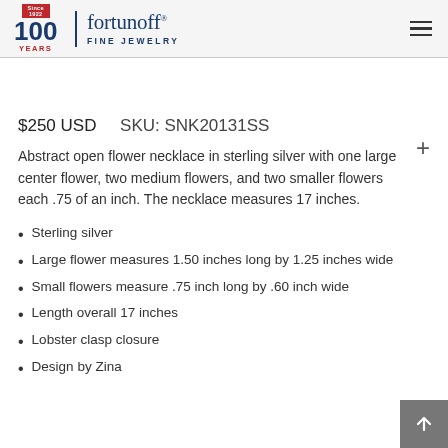100 YEARS Since 1922 | fortunoff FINE JEWELRY
$250 USD     SKU: SNK20131SS
Abstract open flower necklace in sterling silver with one large center flower, two medium flowers, and two smaller flowers each .75 of an inch. The necklace measures 17 inches.
Sterling silver
Large flower measures 1.50 inches long by 1.25 inches wide
Small flowers measure .75 inch long by .60 inch wide
Length overall 17 inches
Lobster clasp closure
Design by Zina